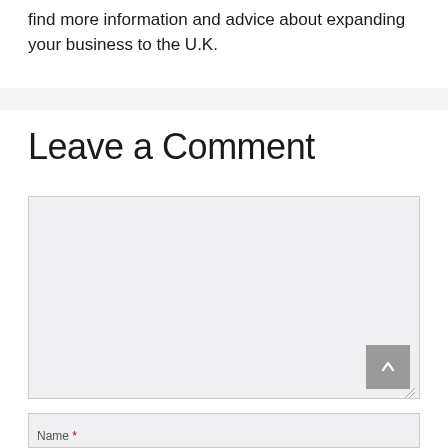find more information and advice about expanding your business to the U.K.
Leave a Comment
[Figure (screenshot): Comment text area input box, empty, with light gray background and a scroll-to-top button in the bottom right corner]
[Figure (screenshot): Name input field, partially visible at the bottom of the page]